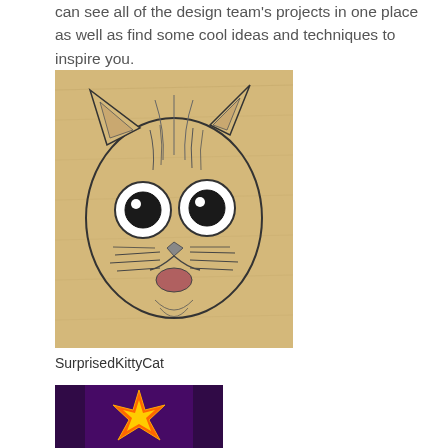can see all of the design team's projects in one place as well as find some cool ideas and techniques to inspire you.
[Figure (illustration): Rubber stamp illustration of a surprised-looking cat face with wide round eyes and open mouth, on a wood-grain background]
SurprisedKittyCat
[Figure (photo): Partial image showing a colorful design with purple and orange/yellow tones, partially cropped at bottom of page]